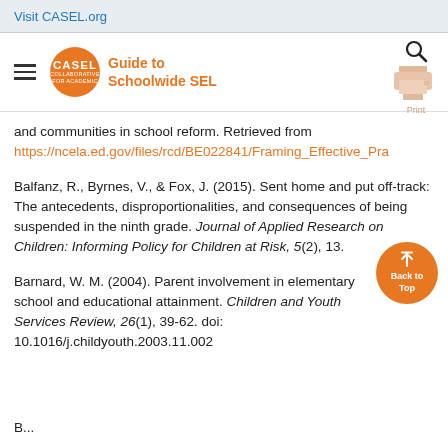Visit CASEL.org
[Figure (logo): CASEL Guide to Schoolwide SEL logo with orange circle and navigation bar with search and print icons]
and communities in school reform. Retrieved from https://ncela.ed.gov/files/rcd/BE022841/Framing_Effective_Pra
Balfanz, R., Byrnes, V., & Fox, J. (2015). Sent home and put off-track: The antecedents, disproportionalities, and consequences of being suspended in the ninth grade. Journal of Applied Research on Children: Informing Policy for Children at Risk, 5(2), 13.
Barnard, W. M. (2004). Parent involvement in elementary school and educational attainment. Children and Youth Services Review, 26(1), 39-62. doi: 10.1016/j.childyouth.2003.11.002